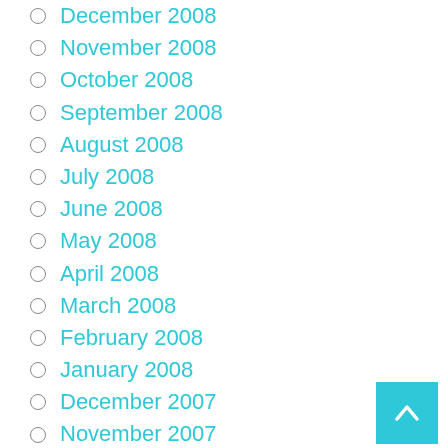December 2008
November 2008
October 2008
September 2008
August 2008
July 2008
June 2008
May 2008
April 2008
March 2008
February 2008
January 2008
December 2007
November 2007
October 2007
September 2007